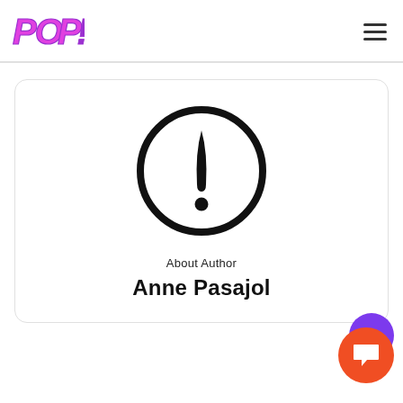[Figure (logo): POP! logo in pink/purple bubble-style lettering]
[Figure (illustration): No-image placeholder icon: circle with exclamation mark inside]
About Author
Anne Pasajol